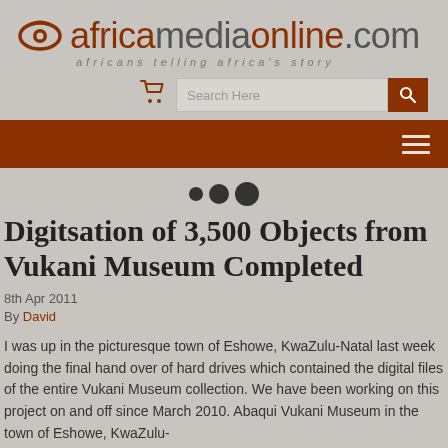[Figure (logo): africamediaonline.com logo with eye icon and tagline 'africans telling africa's story']
[Figure (screenshot): Search bar with cart icon and orange search button]
[Figure (infographic): Three dots navigation indicator (small, medium, large dark circles)]
Digitsation of 3,500 Objects from Vukani Museum Completed
8th Apr 2011
By David
I was up in the picturesque town of Eshowe, KwaZulu-Natal last week doing the final hand over of hard drives which contained the digital files of the entire Vukani Museum collection. We have been working on this project on and off since March 2010. Abaqui Vukani Museum in the town of Eshowe, KwaZulu-